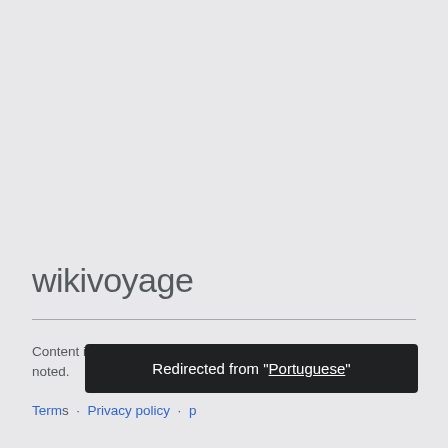wikivoyage
Content is available under CC BY-SA 3.0 unless otherwise noted.
Terms of Use · Privacy policy · p
Redirected from "Portuguese"